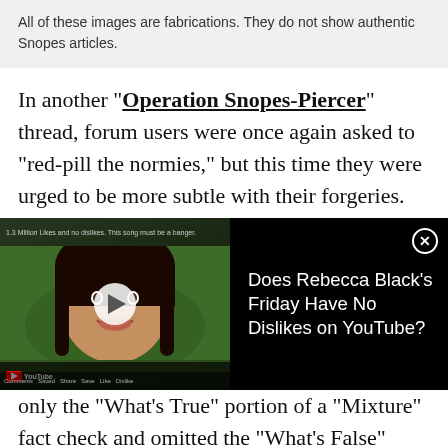All of these images are fabrications. They do not show authentic Snopes articles.
In another “Operation Snopes-Piercer” thread, forum users were once again asked to “red-pill the normies,” but this time they were urged to be more subtle with their forgeries. Instead of making up claims out of whole cloth, they were tasked with finding real Snopes articles featuring
[Figure (screenshot): Embedded video widget showing a YouTube video thumbnail of Rebecca Black's Friday video on the left (dark panel with play button and woman's face), and a black panel on the right with white text reading 'Does Rebecca Black’s Friday Have No Dislikes on YouTube?' and a close button.]
only the “What’s True” portion of a “Mixture” fact check and omitted the “What’s False” portion